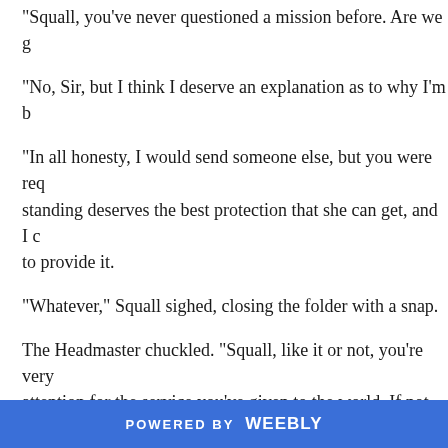"Squall, you've never questioned a mission before. Are we g
"No, Sir, but I think I deserve an explanation as to why I'm b
"In all honesty, I would send someone else, but you were req standing deserves the best protection that she can get, and I c to provide it.
"Whatever," Squall sighed, closing the folder with a snap.
The Headmaster chuckled. "Squall, like it or not, you're very attention for the service you've given to the world. If not for her twisted plans for us all."
"I didn't do it alone, and no, I don't like the attention." A co
POWERED BY weebly